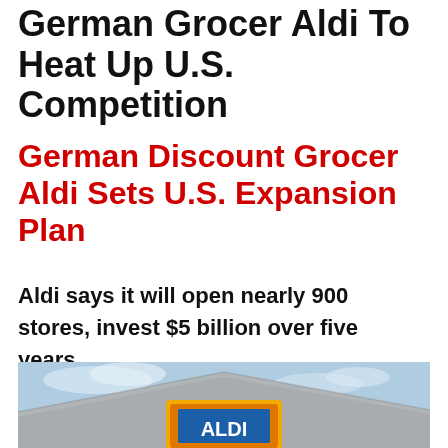German Grocer Aldi To Heat Up U.S. Competition
German Discount Grocer Aldi Sets U.S. Expansion Plan
Aldi says it will open nearly 900 stores, invest $5 billion over five years
[Figure (photo): Exterior of an Aldi store showing the roof and large Aldi logo sign with blue A on orange/yellow background, photographed from below against a blue sky.]